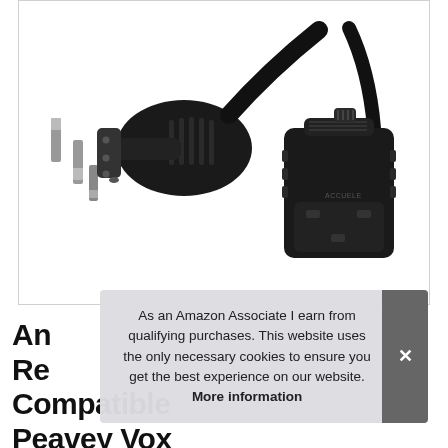[Figure (photo): A black 3-prong US power plug on the left and a black IEC C13 female connector with cable on the right, on a white background]
Amazon Basics Replacement / Compatible Peavey Vox Guitar
As an Amazon Associate I earn from qualifying purchases. This website uses the only necessary cookies to ensure you get the best experience on our website. More information